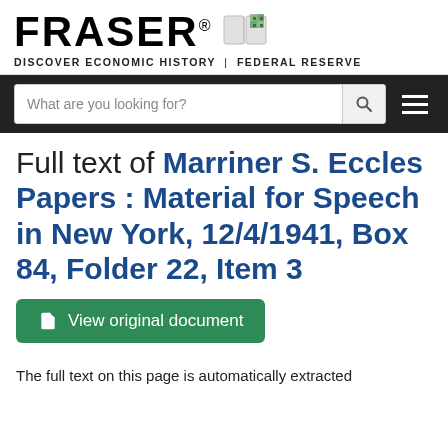FRASER® DISCOVER ECONOMIC HISTORY | FEDERAL RESERVE
Full text of Marriner S. Eccles Papers : Material for Speech in New York, 12/4/1941, Box 84, Folder 22, Item 3
View original document
The full text on this page is automatically extracted